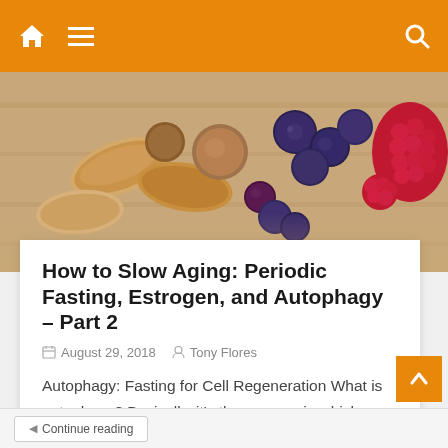Navigation bar with home icon, hamburger menu, and search icon
[Figure (photo): Hero image showing nuts (almonds, hazelnuts) and berries (blueberries, raspberries, other mixed berries) arranged on a wooden surface, warm toned food photography]
How to Slow Aging: Periodic Fasting, Estrogen, and Autophagy – Part 2
August 29, 2018  Tony Flores
Autophagy: Fasting for Cell Regeneration What is autophagy? Basically, it's the process in which your body disposes of dead or deteriorating cells, changing them into enzymes that can then be used by your body to develop proteins. Literally, autophagy means "self-eating." Your body consumes itself on a regular basis through this process. Periodic fasting increases […]